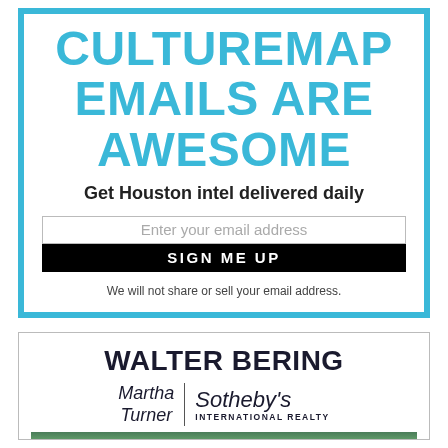CULTUREMAP EMAILS ARE AWESOME
Get Houston intel delivered daily
Enter your email address
SIGN ME UP
We will not share or sell your email address.
WALTER BERING
[Figure (logo): Martha Turner | Sotheby's International Realty logo]
[Figure (photo): Partial landscape/property photo at bottom of page]